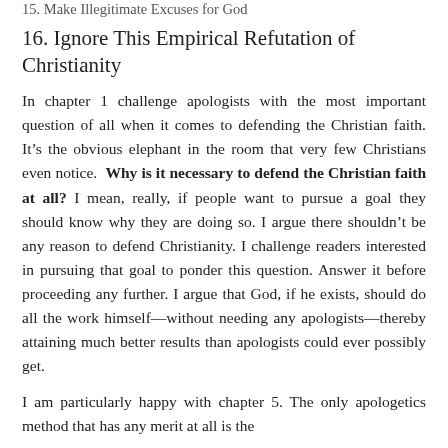15. Make Illegitimate Excuses for God
16. Ignore This Empirical Refutation of Christianity
In chapter 1 challenge apologists with the most important question of all when it comes to defending the Christian faith. It’s the obvious elephant in the room that very few Christians even notice. Why is it necessary to defend the Christian faith at all? I mean, really, if people want to pursue a goal they should know why they are doing so. I argue there shouldn’t be any reason to defend Christianity. I challenge readers interested in pursuing that goal to ponder this question. Answer it before proceeding any further. I argue that God, if he exists, should do all the work himself—without needing any apologists—thereby attaining much better results than apologists could ever possibly get.
I am particularly happy with chapter 5. The only apologetics method that has any merit at all is the